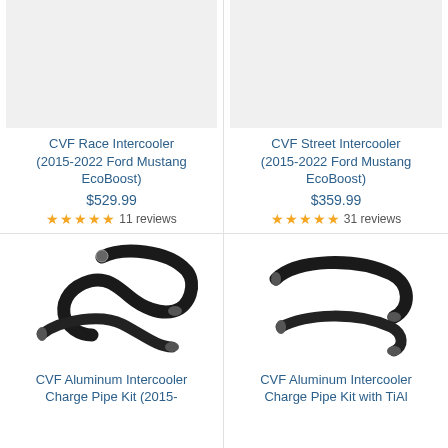[Figure (photo): CVF Race Intercooler product image placeholder (light gray box)]
CVF Race Intercooler (2015-2022 Ford Mustang EcoBoost)
$529.99
11 reviews
[Figure (photo): CVF Street Intercooler product image placeholder (light gray box)]
CVF Street Intercooler (2015-2022 Ford Mustang EcoBoost)
$359.99
31 reviews
[Figure (photo): CVF Aluminum Intercooler Charge Pipe Kit — two black curved aluminum pipes with metal end fittings]
CVF Aluminum Intercooler Charge Pipe Kit (2015-
[Figure (photo): CVF Aluminum Intercooler Charge Pipe Kit with TiAl — two black curved aluminum charge pipes]
CVF Aluminum Intercooler Charge Pipe Kit with TiAl